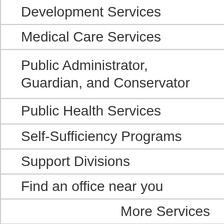Development Services
Medical Care Services
Public Administrator, Guardian, and Conservator
Public Health Services
Self-Sufficiency Programs
Support Divisions
Find an office near you
More Services